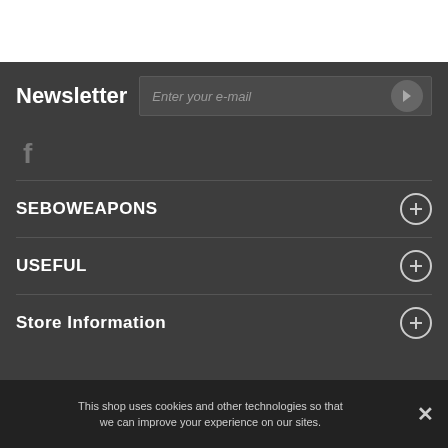Newsletter
Enter your e-mail
[Figure (logo): Facebook icon (f logo) in gray]
SEBOWEAPONS
USEFUL
Store Information
This shop uses cookies and other technologies so that we can improve your experience on our sites.